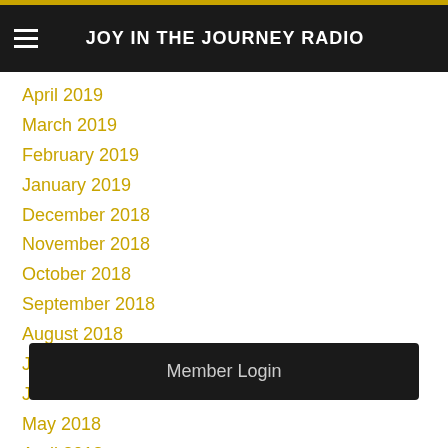JOY IN THE JOURNEY RADIO
April 2019
March 2019
February 2019
January 2019
December 2018
November 2018
October 2018
September 2018
August 2018
July 2018
June 2018
May 2018
April 2018
March 2018
Member Login
January 2018
December 2017